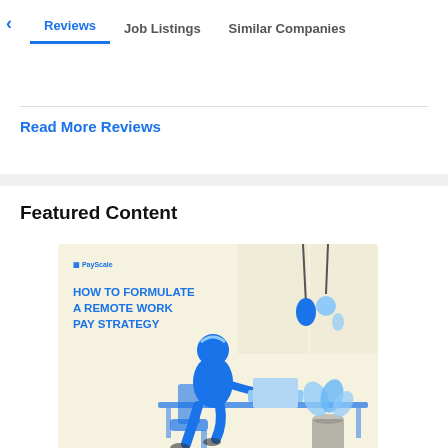Reviews | Job Listings | Similar Companies
Read More Reviews
Featured Content
[Figure (illustration): PayScale illustration for 'How To Formulate A Remote Work Pay Strategy' showing a person working at a desk with a plant and hanging light bulbs]
Remote Work